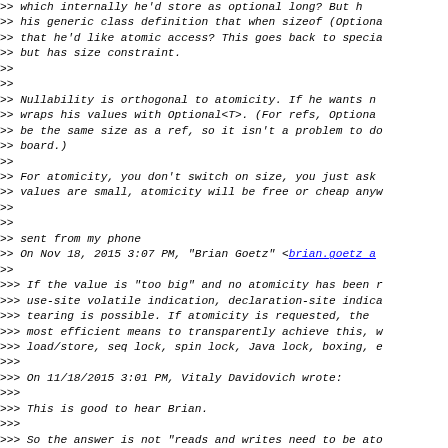>> which internally he'd store as optional long?  But h
>> his generic class definition that when sizeof (Optiona
>> that he'd like atomic access? This goes back to specia
>> but has size constraint.
>>
>>
>> Nullability is orthogonal to atomicity.  If he wants n
>> wraps his values with Optional<T>.  (For refs, Optiona
>> be the same size as a ref, so it isn't a problem to do
>> board.)
>>
>> For atomicity, you don't switch on size, you just ask
>> values are small, atomicity will be free or cheap anyw
>>
>>
>> sent from my phone
>> On Nov 18, 2015 3:07 PM, "Brian Goetz" <brian.goetz a
>>
>>> If the value is "too big" and no atomicity has been r
>>> use-site volatile indication, declaration-site indica
>>> tearing is possible.  If atomicity is requested, the
>>> most efficient means to transparently achieve this, w
>>> load/store, seq lock, spin lock, Java lock, boxing, e
>>>
>>> On 11/18/2015 3:01 PM, Vitaly Davidovich wrote:
>>>
>>> This is good to hear Brian.
>>>
>>> So the answer is not "reads and writes need to be ato
>>>> "there should be a way to ask for atomic reads/write
>>>> front runner here builds on an existing story, us